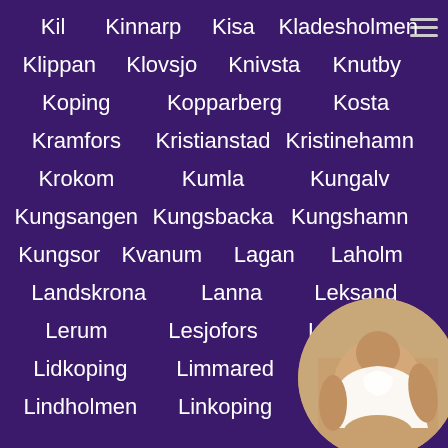Kil  Kinnarp  Kisa  Kladesholmen
Klippan  Klovsjo  Knivsta  Knutby
Koping  Kopparberg  Kosta
Kramfors  Kristianstad  Kristinehamn
Krokom  Kumla  Kungalv
Kungsangen  Kungsbacka  Kungshamn
Kungsor  Kvanum  Lagan  Laholm
Landskrona  Lanna  Leksand
Lerum  Lesjofors  Lessebo
Lidkoping  Limmared  Lin...
Lindholmen  Linkoping  Ljungby
[Figure (photo): Circular cropped photo of a woman in bottom right corner]